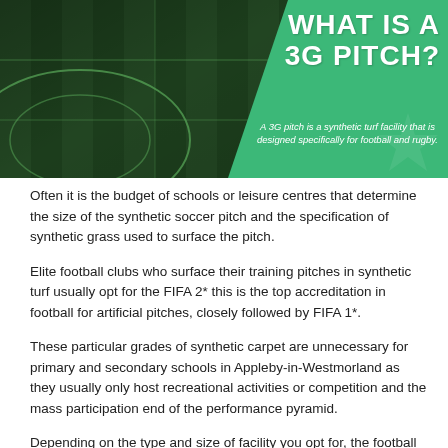[Figure (photo): Banner image showing aerial view of a football pitch (dark green turf with lines) on the left, and a green graphic panel on the right with bold white text 'WHAT IS A 3G PITCH?' and subtitle 'A 3G pitch is a synthetic turf facility that is designed specifically for football and rugby.']
Often it is the budget of schools or leisure centres that determine the size of the synthetic soccer pitch and the specification of synthetic grass used to surface the pitch.
Elite football clubs who surface their training pitches in synthetic turf usually opt for the FIFA 2* this is the top accreditation in football for artificial pitches, closely followed by FIFA 1*.
These particular grades of synthetic carpet are unnecessary for primary and secondary schools in Appleby-in-Westmorland as they usually only host recreational activities or competition and the mass participation end of the performance pyramid.
Depending on the type and size of facility you opt for, the football pitch construction costs